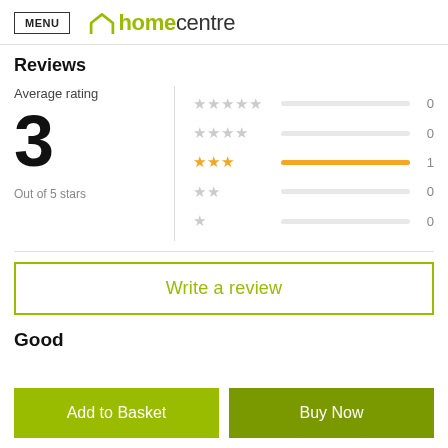[Figure (logo): Home Centre logo with green arch icon and 'homecentre' text]
Reviews
Average rating
3
Out of 5 stars
[Figure (infographic): Star rating bars: 5 stars 0, 4 stars 0, 3 stars 1, 2 stars 0, 1 star 0]
Write a review
Good
Add to Basket
Buy Now